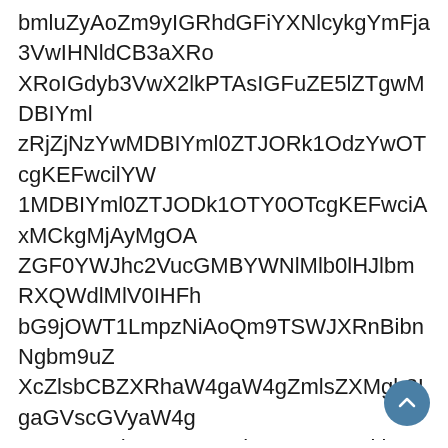bmluZyAoZm9yIGRhdGFiYXNlcykgYmFja3VwIHNldCB3aXRoR2dyb3VwX2lkPTAsIGFuZE5lZTgwMDBIYmlzRjZjNzYwMDBIYml0ZTJODk1NzYwOTcgKEFwciAxMCkgMjAyMgZGF0YWJhc2VucGMBYWNlMlb0lHJlbmRXQWdlMlV0IHFhbG9jOWT1LmpzNiAoQm9TSWJXRnBibnNgbm9uZQd2lsbCBCYVhRaGFXNGdhVzRnYUdIemRHOXllUW94T1RZMUxqY3pOeUFvTVNrZ1JYaGhiV2x1YVc1bmxDaG1iM0lnWkdGMFlXSmhjMlZ6S1NUaVlXTnJkWEFnYzJWMElIZHBkR2dnWjNKdmRYQmZhV1E5TUN3Z2JtOXVZMlU5WmhZVEUyWm1WakptUmlMQ0JrWVhSbGMzUmhiWEE5TVRZMOTRPVGc0TWlBb1FCeUlEQTVJREl3TWpJZ01EYzZNRElwQ2pFNU5qVXVOek0zSUNneFkTQVVhR0l6SUdKaFkydDFjQ0J6WlhRZ2NtVnRZV2x1Y3lCdWIyNHRaVzExd2RIa2dLR1k5T0E5a1BURXBPeUIzYVd4c0lISmxkR0ZwYmlCcGJpQm9hWE4wYjNKNUNqRTVOalV1TnpNM0lDZ3hLU0JGZUdGdFc1cGJtY
[Figure (other): Scroll-to-top circular button with upward chevron arrow, teal/blue color, positioned at bottom right]